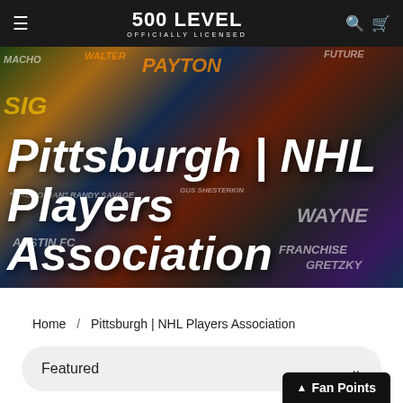500 LEVEL | OFFICIALLY LICENSED
[Figure (photo): Hero banner collage of sports player illustrations and art with text overlay reading Pittsburgh | NHL Players Association]
Pittsburgh | NHL Players Association
Home / Pittsburgh | NHL Players Association
Featured
Fan Points